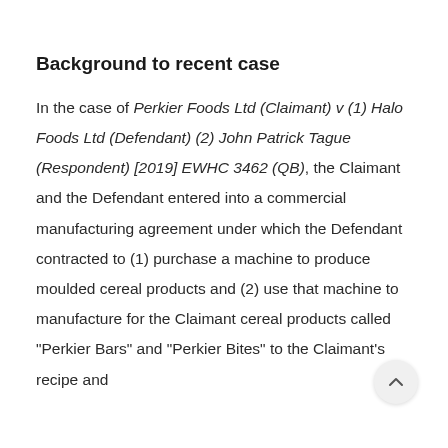Background to recent case
In the case of Perkier Foods Ltd (Claimant) v (1) Halo Foods Ltd (Defendant) (2) John Patrick Tague (Respondent) [2019] EWHC 3462 (QB), the Claimant and the Defendant entered into a commercial manufacturing agreement under which the Defendant contracted to (1) purchase a machine to produce moulded cereal products and (2) use that machine to manufacture for the Claimant cereal products called "Perkier Bars" and "Perkier Bites" to the Claimant's recipe and